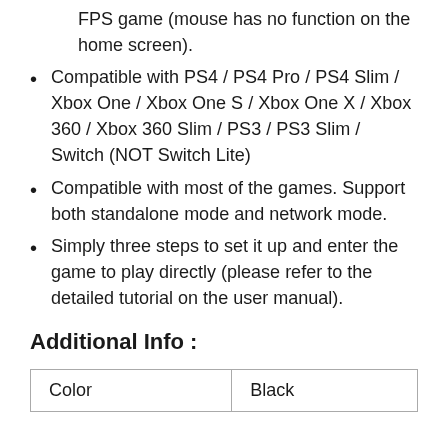FPS game (mouse has no function on the home screen).
Compatible with PS4 / PS4 Pro / PS4 Slim / Xbox One / Xbox One S / Xbox One X / Xbox 360 / Xbox 360 Slim / PS3 / PS3 Slim / Switch (NOT Switch Lite)
Compatible with most of the games. Support both standalone mode and network mode.
Simply three steps to set it up and enter the game to play directly (please refer to the detailed tutorial on the user manual).
Additional Info :
| Color | Black |
| --- | --- |